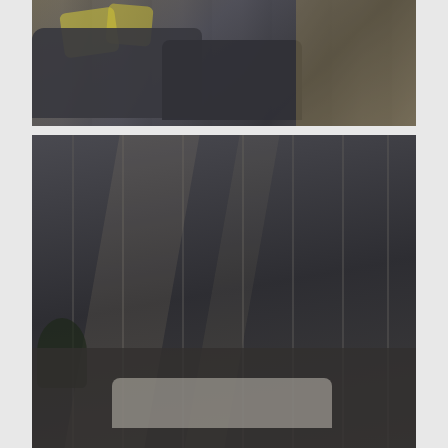[Figure (photo): Interior living room photo showing dark grey sofa with yellow/green pillows and wooden furniture, viewed from above. Image is darkened/overlaid.]
[Figure (photo): Exterior or interior architectural photo showing vertical structural elements, large glass windows with diagonal light streaks, and outdoor furniture with white cushions and a plant in the foreground. Dark overlay. Text overlay reads 'UNDER 100K' in a white rectangular border.]